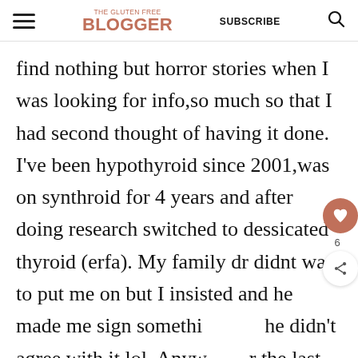THE GLUTEN FREE BLOGGER | SUBSCRIBE
find nothing but horror stories when I was looking for info,so much so that I had second thought of having it done. I've been hypothyroid since 2001,was on synthroid for 4 years and after doing research switched to dessicated thyroid (erfa). My family dr didnt want to put me on but I insisted and he made me sign something that he didn't agree with it lol. Anyway for the last year i was choking on food